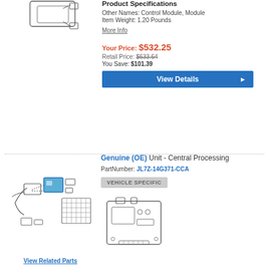[Figure (illustration): Line drawing of a control module part (partially visible at top)]
Product Specifications
Other Names: Control Module, Module
Item Weight: 1.20 Pounds
More Info
Your Price: $532.25
Retail Price: $633.64
You Save: $101.39
View Details
[Figure (illustration): Exploded diagram of Central Processing Unit parts with wiring harness and components]
View Related Parts
Genuine (OE) Unit - Central Processing
PartNumber: JL7Z-14G371-CCA
VEHICLE SPECIFIC
[Figure (illustration): Line drawing of the Central Processing Unit module box]